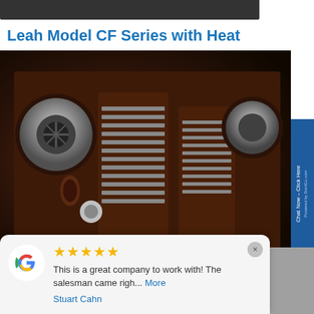[Figure (photo): Top cropped photo of outdoor scene (dark/building)]
Leah Model CF Series with Heat
[Figure (photo): Close-up photo of a brown/dark radiator heater product with silver vents and circular fittings]
[Figure (screenshot): Google review card overlay. Five gold stars. Text: 'This is a great company to work with! The salesman came righ... More'. Reviewer: Stuart Cahn. Google logo shown. Chat Now - Click Here sidebar visible on right.]